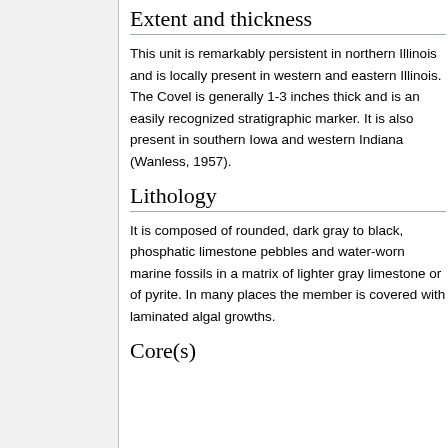Extent and thickness
This unit is remarkably persistent in northern Illinois and is locally present in western and eastern Illinois. The Covel is generally 1-3 inches thick and is an easily recognized stratigraphic marker. It is also present in southern Iowa and western Indiana (Wanless, 1957).
Lithology
It is composed of rounded, dark gray to black, phosphatic limestone pebbles and water-worn marine fossils in a matrix of lighter gray limestone or of pyrite. In many places the member is covered with laminated algal growths.
Core(s)